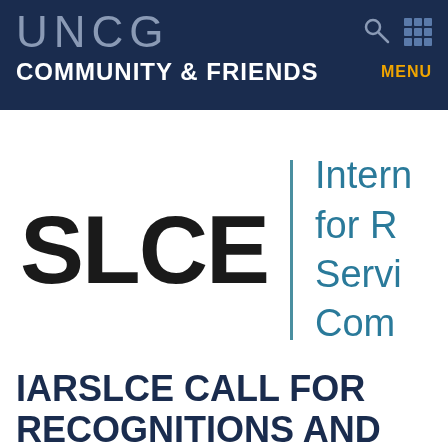UNCG COMMUNITY & FRIENDS
[Figure (logo): SLCE logo — text 'SLCE' with a vertical bar and partial text 'Intern for R Servi Com' in teal, representing International Association for Research on Service-Learning and Community Engagement]
IARSLCE CALL FOR RECOGNITIONS AND